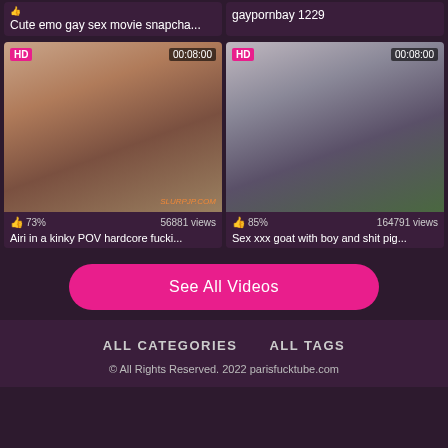Cute emo gay sex movie snapcha...
gaypornbay 1229
[Figure (screenshot): Video thumbnail left - HD, 00:08:00, woman with dark hair leaning over, watermark SLURPJP.COM, 73%, 56881 views, title: Airi in a kinky POV hardcore fucki...]
[Figure (screenshot): Video thumbnail right - HD, 00:08:00, muscular man standing, 85%, 164791 views, title: Sex xxx goat with boy and shit pig...]
See All Videos
ALL CATEGORIES   ALL TAGS
© All Rights Reserved. 2022 parisfucktube.com